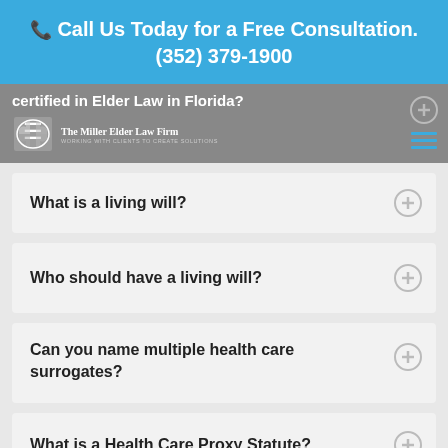Call Us Today for a Free Consultation. (352) 379-1900
[Figure (screenshot): Gray navigation bar with truncated question text 'certified in Elder Law in Florida?', The Miller Elder Law Firm logo with puzzle piece icon, and hamburger menu icon on the right with a plus circle.]
What is a living will?
Who should have a living will?
Can you name multiple health care surrogates?
What is a Health Care Proxy Statute?